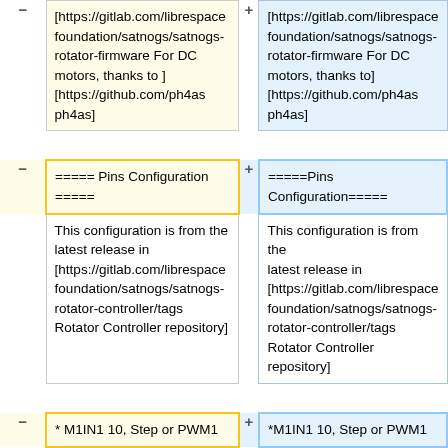| (removed) | (added) |
| --- | --- |
| [https://gitlab.com/librespace foundation/satnogs/satnogs-rotator-firmware For DC motors, thanks to ] [https://github.com/ph4as ph4as] | [https://gitlab.com/librespace foundation/satnogs/satnogs-rotator-firmware For DC motors, thanks to] [https://github.com/ph4as ph4as] |
| ===== Pins Configuration ===== | =====Pins Configuration===== |
| This configuration is from the latest release in [https://gitlab.com/librespace foundation/satnogs/satnogs-rotator-controller/tags Rotator Controller repository] | This configuration is from the latest release in [https://gitlab.com/librespace foundation/satnogs/satnogs-rotator-controller/tags Rotator Controller repository] |
| * M1IN1 10, Step or PWM1 | *M1IN1 10, Step or PWM1 |
| * M1IN2 9, Direction or | *M1IN2 9, Direction or |